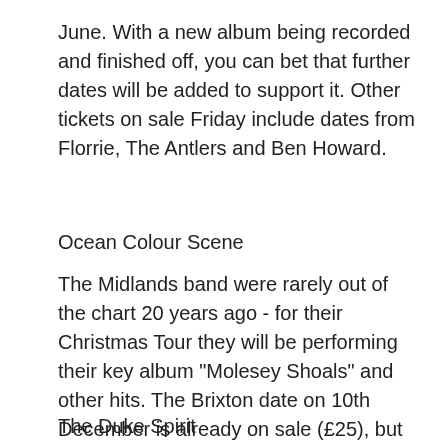June. With a new album being recorded and finished off, you can bet that further dates will be added to support it. Other tickets on sale Friday include dates from Florrie, The Antlers and Ben Howard.
Ocean Colour Scene
The Midlands band were rarely out of the chart 20 years ago - for their Christmas Tour they will be performing their key album "Molesey Shoals" and other hits. The Brixton date on 10th December is already on sale (£25), but the remaining preceding gigs are on sale from 9am Monday.
The Duke Spirit